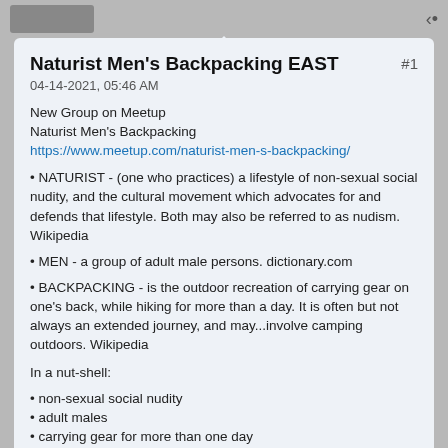Naturist Men's Backpacking EAST   #1
04-14-2021, 05:46 AM
New Group on Meetup
Naturist Men's Backpacking
https://www.meetup.com/naturist-men-s-backpacking/
• NATURIST - (one who practices) a lifestyle of non-sexual social nudity, and the cultural movement which advocates for and defends that lifestyle. Both may also be referred to as nudism. Wikipedia
• MEN - a group of adult male persons. dictionary.com
• BACKPACKING - is the outdoor recreation of carrying gear on one's back, while hiking for more than a day. It is often but not always an extended journey, and may...involve camping outdoors. Wikipedia
In a nut-shell:
• non-sexual social nudity
• adult males
• carrying gear for more than one day
• overnight camping
This is a PRIVATE free-hiking group for men of all levels of experience (in life, personal freedom, sexual orientation, political and religious tolerance, and of course backpacking!) who enjoy and explore nudism while backpacking and camping, and doing it together. We are men of ACTION. We are here to challenge ourselves; to share our knowledge